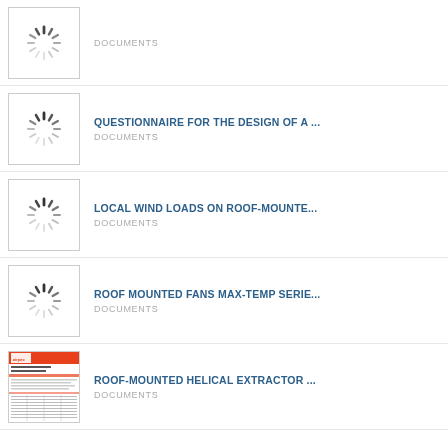DOCUMENTS
QUESTIONNAIRE FOR THE DESIGN OF A ... | DOCUMENTS
LOCAL WIND LOADS ON ROOF-MOUNTE... | DOCUMENTS
ROOF MOUNTED FANS MAX-TEMP SERIE... | DOCUMENTS
ROOF-MOUNTED HELICAL EXTRACTOR ... | DOCUMENTS